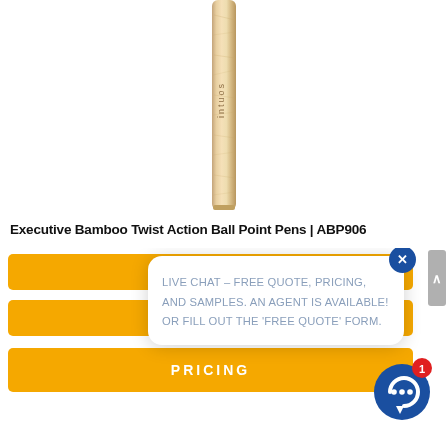[Figure (photo): A bamboo pen/stylus with 'intuos' branding text engraved vertically, shown against a white background. The pen is narrow and elongated with a natural wood-grain bamboo texture.]
Executive Bamboo Twist Action Ball Point Pens | ABP906
[Figure (screenshot): Orange product page UI with three orange horizontal bars (buttons/tabs) and a live chat popup overlay. The popup reads: 'LIVE CHAT – FREE QUOTE, PRICING, AND SAMPLES. AN AGENT IS AVAILABLE! OR FILL OUT THE 'FREE QUOTE' FORM.' A blue close button (X) is at the top right of the popup. A blue chat icon with a red notification badge showing '1' appears at the bottom right. An orange 'PRICING' bar is visible at the bottom of the orange section.]